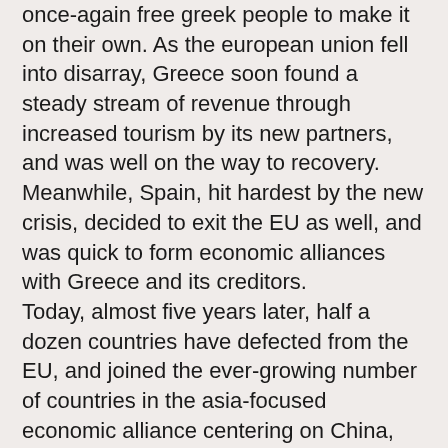once-again free greek people to make it on their own. As the european union fell into disarray, Greece soon found a steady stream of revenue through increased tourism by its new partners, and was well on the way to recovery. Meanwhile, Spain, hit hardest by the new crisis, decided to exit the EU as well, and was quick to form economic alliances with Greece and its creditors.
Today, almost five years later, half a dozen countries have defected from the EU, and joined the ever-growing number of countries in the asia-focused economic alliance centering on China, Russia, Brazil and South Africa. The USA, afraid by the rapid decline of their allies, have called for reinforced sanction against countries whose government defaulted on their debts. In retaliation, China has asked the US to repay half of the 1'200'000'000'000$ (1.2 trillion $) debt it owes. The U.S. treasury has yet to respond to the demand.